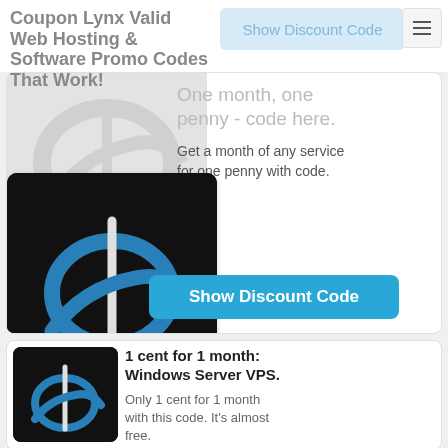Coupon Lynx Valid Web Hosting & Software Promo Codes That Work!
Show Discount Code
One month, one penny - code here.
Get a month of any service for one penny with code.
[Figure (logo): iS logo on dark background - blue swirl with vertical bar]
Show Discount Code
[Figure (logo): iS logo on dark background - blue swirl with vertical bar]
1 cent for 1 month: Windows Server VPS.
Only 1 cent for 1 month with this code. It's almost free.